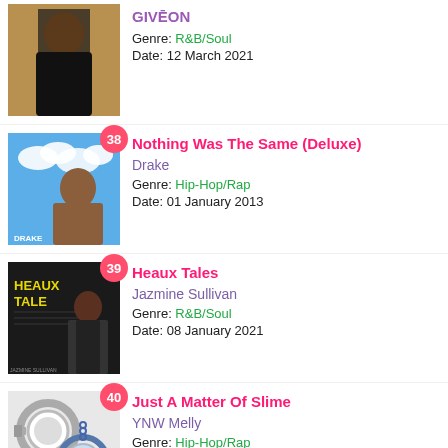[Figure (photo): Partial top entry: album art of GIVEON, artist in black jacket on yellow background]
GIVEON
Genre: R&B/Soul
Date: 12 March 2021
[Figure (photo): Album art for Nothing Was The Same (Deluxe) by Drake, badge #38]
#38 Nothing Was The Same (Deluxe)
Drake
Genre: Hip-Hop/Rap
Date: 01 January 2013
[Figure (photo): Album art for Heaux Tales by Jazmine Sullivan, badge #39]
#39 Heaux Tales
Jazmine Sullivan
Genre: R&B/Soul
Date: 08 January 2021
[Figure (photo): Album art for Just A Matter Of Slime by YNW Melly, badge #40]
#40 Just A Matter Of Slime
YNW Melly
Genre: Hip-Hop/Rap
Date: 13 August 2021